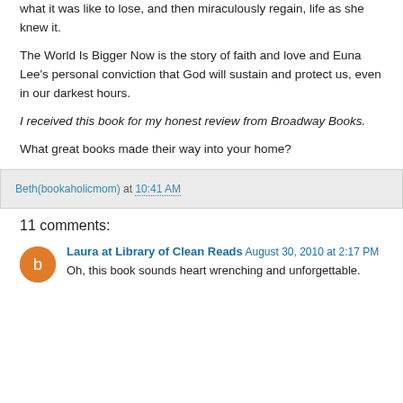what it was like to lose, and then miraculously regain, life as she knew it.
The World Is Bigger Now is the story of faith and love and Euna Lee's personal conviction that God will sustain and protect us, even in our darkest hours.
I received this book for my honest review from Broadway Books.
What great books made their way into your home?
Beth(bookaholicmom) at 10:41 AM
11 comments:
Laura at Library of Clean Reads August 30, 2010 at 2:17 PM
Oh, this book sounds heart wrenching and unforgettable.